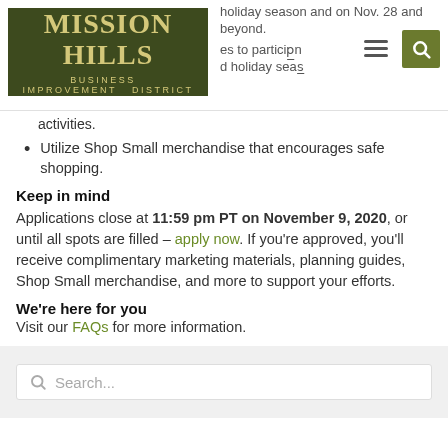Mission Hills Business Improvement District
holiday season and on Nov. 28 and beyond.
es to particip in and holiday season activities.
Utilize Shop Small merchandise that encourages safe shopping.
Keep in mind
Applications close at 11:59 pm PT on November 9, 2020, or until all spots are filled – apply now. If you're approved, you'll receive complimentary marketing materials, planning guides, Shop Small merchandise, and more to support your efforts.
We're here for you
Visit our FAQs for more information.